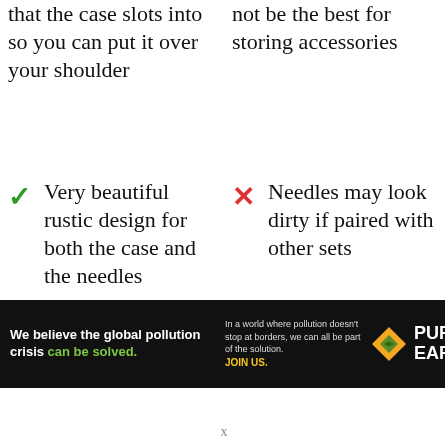that the case slots into so you can put it over your shoulder
not be the best for storing accessories
Very beautiful rustic design for both the case and the needles
Needles may look dirty if paired with other sets
The sleek
No particular
[Figure (infographic): Pure Earth advertisement banner. Black background. Left: 'We believe the global pollution crisis can be solved.' Middle: 'In a world where pollution doesn't stop at borders, we can all be part of the solution. JOIN US.' Right: Pure Earth logo with diamond/leaf icon.]